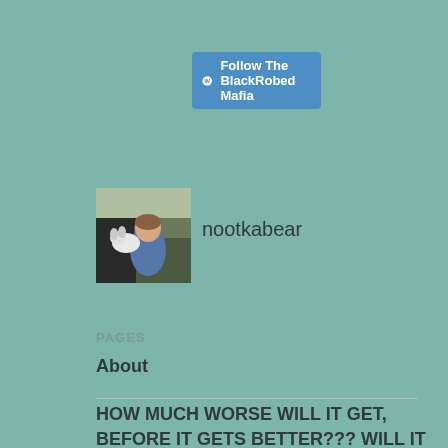[Figure (logo): WordPress Follow button with logo icon and text 'Follow The BlackRobed Mafia' on a blue rounded rectangle]
[Figure (photo): Avatar photo of a person holding a white dog next to a vehicle, outdoors in a wooded area]
nootkabear
PAGES
About
HOW MUCH WORSE WILL IT GET, BEFORE IT GETS BETTER??? WILL IT GET BETTER???